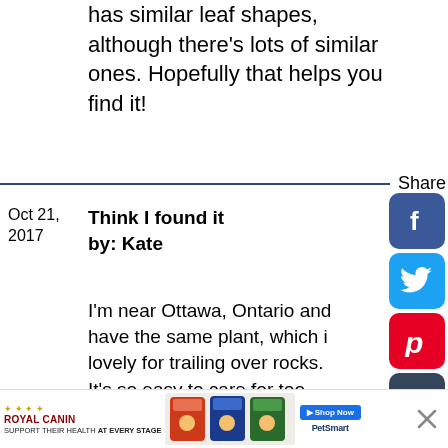has similar leaf shapes, although there's lots of similar ones. Hopefully that helps you find it!
Share
Oct 21, 2017
Think I found it
by: Kate
I'm near Ottawa, Ontario and have the same plant, which is lovely for trailing over rocks. It's so easy to care for too -- just grab a handful from one spot and plunk it down in another, and it takes off! A little web search gave me Sedum Sarmentosum, and some of
[Figure (other): Social sharing icons column: Facebook (blue), Twitter (light blue), Pinterest (red), Tumblr (dark blue), Reddit (orange), heart/favorite button (purple), Top label, count 1]
[Figure (other): Royal Canin advertisement banner with cat food product images and PetSmart shop now button]